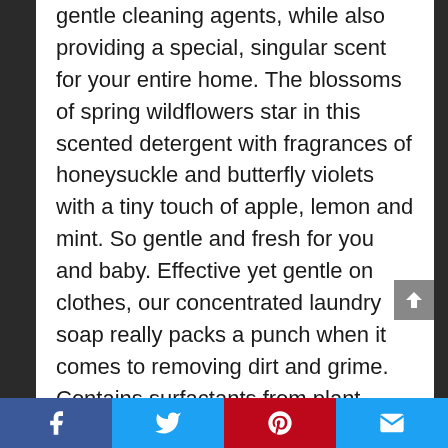gentle cleaning agents, while also providing a special, singular scent for your entire home. The blossoms of spring wildflowers star in this scented detergent with fragrances of honeysuckle and butterfly violets with a tiny touch of apple, lemon and mint. So gentle and fresh for you and baby. Effective yet gentle on clothes, our concentrated laundry soap really packs a punch when it comes to removing dirt and grime. Contains surfactants from plant-derived sources, dirt and stain-fighting enzymes, other thoughtfully chosen ingredients and, of course, those important essential oils. This liquid detergent is HE